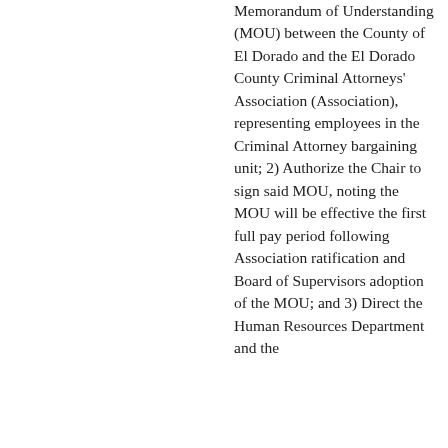Memorandum of Understanding (MOU) between the County of El Dorado and the El Dorado County Criminal Attorneys' Association (Association), representing employees in the Criminal Attorney bargaining unit; 2) Authorize the Chair to sign said MOU, noting the MOU will be effective the first full pay period following Association ratification and Board of Supervisors adoption of the MOU; and 3) Direct the Human Resources Department and the